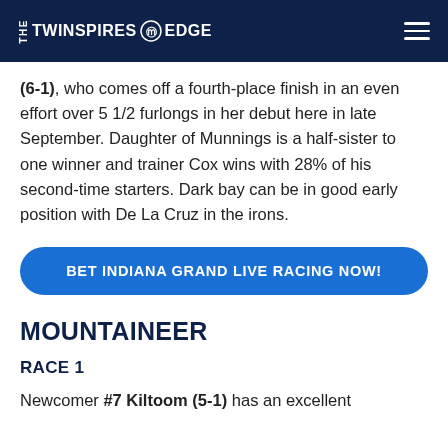THE TWINSPIRES EDGE
(6-1), who comes off a fourth-place finish in an even effort over 5 1/2 furlongs in her debut here in late September. Daughter of Munnings is a half-sister to one winner and trainer Cox wins with 28% of his second-time starters. Dark bay can be in good early position with De La Cruz in the irons.
BET INDIANA GRAND LIVE RACING NOW!
MOUNTAINEER
RACE 1
Newcomer #7 Kiltoom (5-1) has an excellent